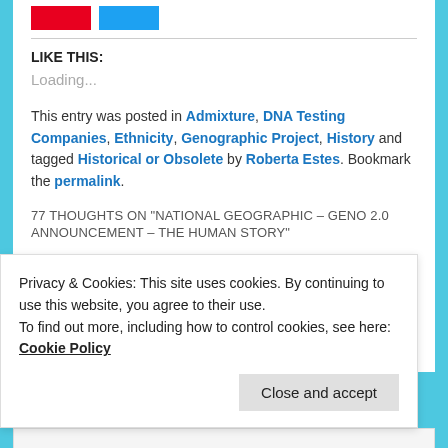[Figure (other): Two social share buttons (red and blue) at the top of a blog post page]
LIKE THIS:
Loading...
This entry was posted in Admixture, DNA Testing Companies, Ethnicity, Genographic Project, History and tagged Historical or Obsolete by Roberta Estes. Bookmark the permalink.
77 THOUGHTS ON "NATIONAL GEOGRAPHIC – GENO 2.0 ANNOUNCEMENT – THE HUMAN STORY"
Privacy & Cookies: This site uses cookies. By continuing to use this website, you agree to their use.
To find out more, including how to control cookies, see here: Cookie Policy